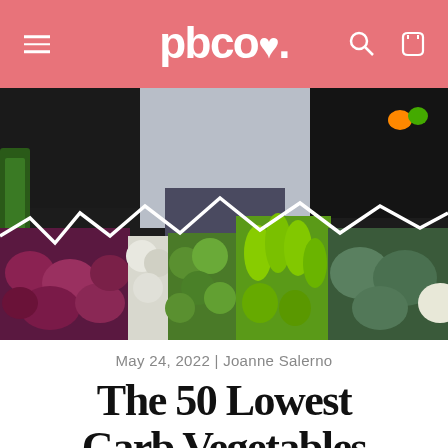pbco. [navigation header with hamburger menu, search icon, and cart icon on salmon/coral background]
[Figure (photo): Vegetable market stall showing a person standing behind rows of colorful produce: purple/red onions or eggplants on the left, white sliced vegetables, green round vegetables, bright green peppers in the center, and large green gourds on the right. A white zigzag decorative line runs across the image. Dark market canopy overhead with some colorful birds visible upper right.]
May 24, 2022 | Joanne Salerno
The 50 Lowest Carb Vegetables